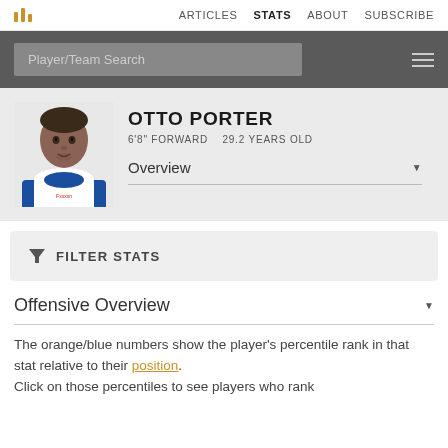ARTICLES  STATS  ABOUT  SUBSCRIBE
Player/Team Search
OTTO PORTER
6'8" FORWARD   29.2 YEARS OLD
Overview
FILTER STATS
Offensive Overview
The orange/blue numbers show the player's percentile rank in that stat relative to their position. Click on those percentiles to see players who rank